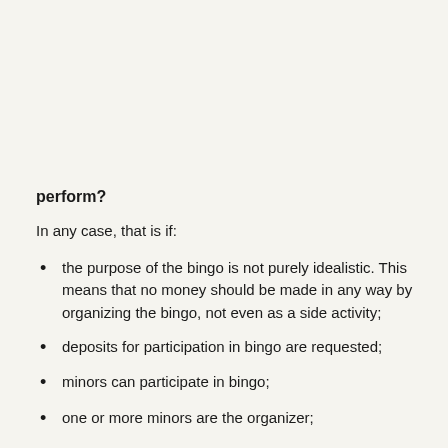perform?
In any case, that is if:
the purpose of the bingo is not purely idealistic. This means that no money should be made in any way by organizing the bingo, not even as a side activity;
deposits for participation in bingo are requested;
minors can participate in bingo;
one or more minors are the organizer;